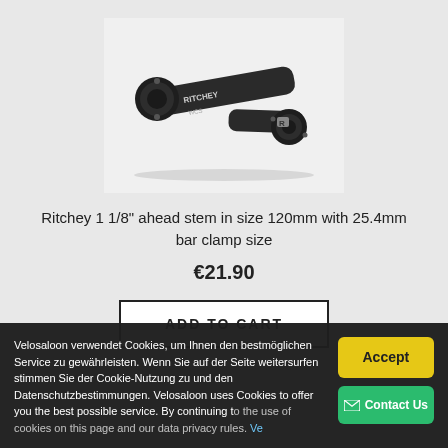[Figure (photo): Ritchey 1 1/8 inch ahead stem bicycle component, black, angled view showing clamp and steerer tube clamp]
Ritchey 1 1/8" ahead stem in size 120mm with 25.4mm bar clamp size
€21.90
ADD TO CART
Velosaloon verwendet Cookies, um Ihnen den bestmöglichen Service zu gewährleisten. Wenn Sie auf der Seite weitersurfen stimmen Sie der Cookie-Nutzung zu und den Datenschutzbestimmungen. Velosaloon uses Cookies to offer you the best possible service. By continuing to use the use of cookies on this page and our data privacy rules. Ve